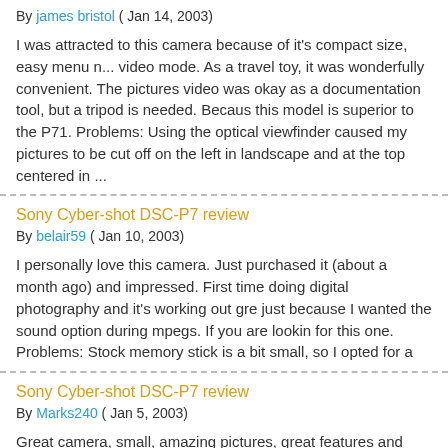By james bristol ( Jan 14, 2003)

I was attracted to this camera because of it's compact size, easy menu n... video mode. As a travel toy, it was wonderfully convenient. The pictures video was okay as a documentation tool, but a tripod is needed. Because this model is superior to the P71. Problems: Using the optical viewfinder caused my pictures to be cut off on the left in landscape and at the top centered in ...
Sony Cyber-shot DSC-P7 review
By belair59 ( Jan 10, 2003)

I personally love this camera. Just purchased it (about a month ago) and impressed. First time doing digital photography and it's working out gre... just because I wanted the sound option during mpegs. If you are lookin for this one. Problems: Stock memory stick is a bit small, so I opted for a
Sony Cyber-shot DSC-P7 review
By Marks240 ( Jan 5, 2003)

Great camera, small, amazing pictures, great features and pretty good p... Problems: None yet.
Sony Cyber-shot DSC-P7 review